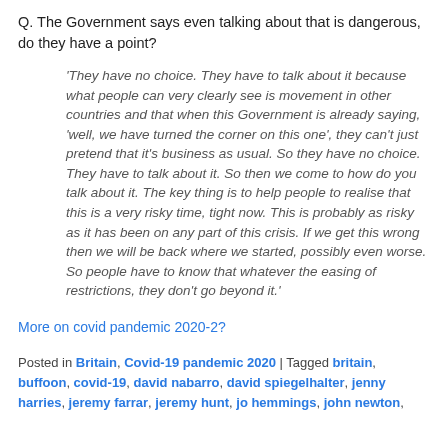Q. The Government says even talking about that is dangerous, do they have a point?
‘They have no choice. They have to talk about it because what people can very clearly see is movement in other countries and that when this Government is already saying, ‘well, we have turned the corner on this one’, they can’t just pretend that it's business as usual. So they have no choice. They have to talk about it. So then we come to how do you talk about it. The key thing is to help people to realise that this is a very risky time, tight now. This is probably as risky as it has been on any part of this crisis. If we get this wrong then we will be back where we started, possibly even worse. So people have to know that whatever the easing of restrictions, they don’t go beyond it.’
More on covid pandemic 2020-2?
Posted in Britain, Covid-19 pandemic 2020 | Tagged britain, buffoon, covid-19, david nabarro, david spiegelhalter, jenny harries, jeremy farrar, jeremy hunt, jo hemmings, john newton,